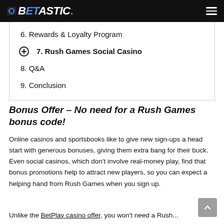BETASTIC.
6. Rewards & Loyalty Program
7. Rush Games Social Casino
8. Q&A
9. Conclusion
Bonus Offer – No need for a Rush Games bonus code!
Online casinos and sportsbooks like to give new sign-ups a head start with generous bonuses, giving them extra bang for their buck. Even social casinos, which don't involve real-money play, find that bonus promotions help to attract new players, so you can expect a helping hand from Rush Games when you sign up.
Unlike the BetPlay casino offer, you won't need a Rush...